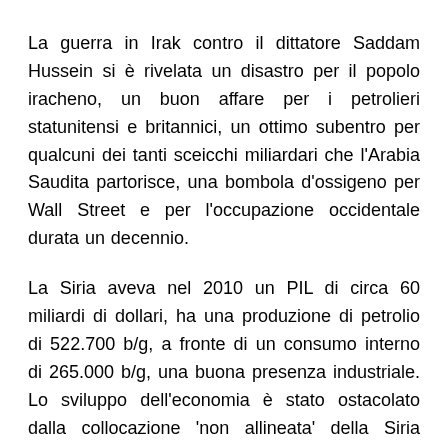La guerra in Irak contro il dittatore Saddam Hussein si è rivelata un disastro per il popolo iracheno, un buon affare per i petrolieri statunitensi e britannici, un ottimo subentro per qualcuni dei tanti sceicchi miliardari che l'Arabia Saudita partorisce, una bombola d'ossigeno per Wall Street e per l'occupazione occidentale durata un decennio.
La Siria aveva nel 2010 un PIL di circa 60 miliardi di dollari, ha una produzione di petrolio di 522.700 b/g, a fronte di un consumo interno di 265.000 b/g, una buona presenza industriale. Lo sviluppo dell'economia è stato ostacolato dalla collocazione 'non allineata' della Siria rispetto alla questione irachena, che condiziona gli scambi commerciali e i contributi all'economia e allo sviluppo della...